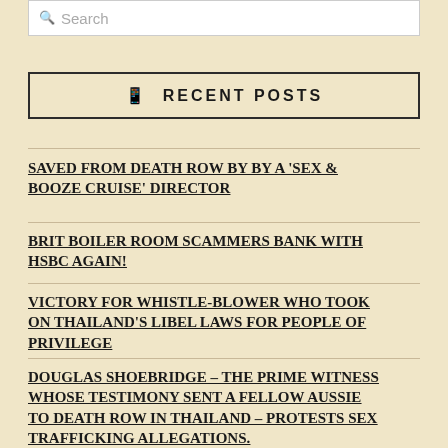Search
RECENT POSTS
SAVED FROM DEATH ROW BY BY A 'SEX & BOOZE CRUISE' DIRECTOR
BRIT BOILER ROOM SCAMMERS BANK WITH HSBC AGAIN!
VICTORY FOR WHISTLE-BLOWER WHO TOOK ON THAILAND'S LIBEL LAWS FOR PEOPLE OF PRIVILEGE
DOUGLAS SHOEBRIDGE – THE PRIME WITNESS WHOSE TESTIMONY SENT A FELLOW AUSSIE TO DEATH ROW IN THAILAND – PROTESTS SEX TRAFFICKING ALLEGATIONS.